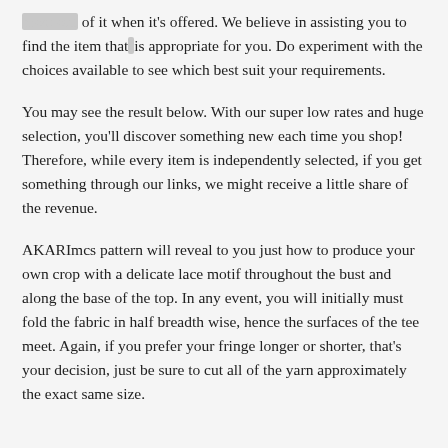most out of it when it's offered. We believe in assisting you to find the item that is appropriate for you. Do experiment with the choices available to see which best suit your requirements.
You may see the result below. With our super low rates and huge selection, you'll discover something new each time you shop! Therefore, while every item is independently selected, if you get something through our links, we might receive a little share of the revenue.
AKARImcs pattern will reveal to you just how to produce your own crop with a delicate lace motif throughout the bust and along the base of the top. In any event, you will initially must fold the fabric in half breadth wise, hence the surfaces of the tee meet. Again, if you prefer your fringe longer or shorter, that's your decision, just be sure to cut all of the yarn approximately the exact same size.